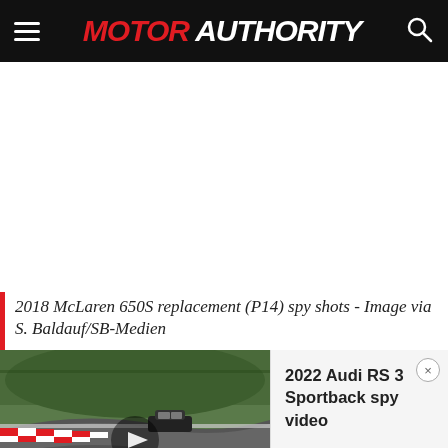MOTOR AUTHORITY
2018 McLaren 650S replacement (P14) spy shots - Image via S. Baldauf/SB-Medien
[Figure (screenshot): Video widget showing a car on a racetrack (Nürburgring) with a play button overlay on the left thumbnail, and text '2022 Audi RS 3 Sportback spy video' on the right panel]